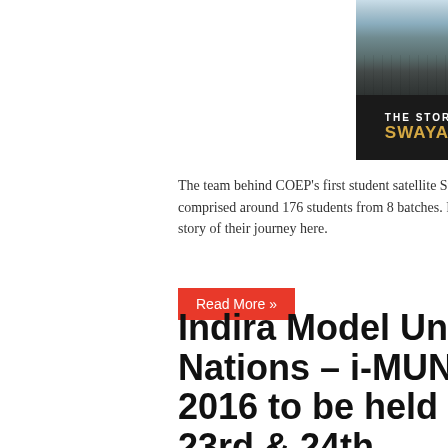[Figure (photo): Composite image showing a group photo of students (team behind COEP's Swayam satellite) on the left top, a dark banner reading 'THE STORY OF TEAM SWAYAM' with an emblem on the bottom left, and a rocket launch photo on the right side.]
The team behind COEP's first student satellite Swayam, is comprised around 176 students from 8 batches. Read the story of their journey here.
Read More »
Indira Model United Nations – i-MUN 2016 to be held on 23rd & 24th December at ICCS